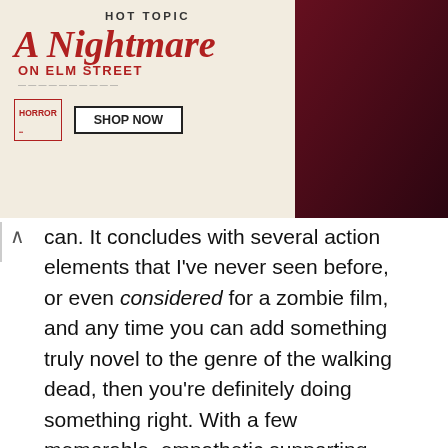[Figure (photo): Hot Topic advertisement banner for A Nightmare on Elm Street merchandise, showing two models in horror-themed clothing against a dark red curtain background, with a Shop Now button]
can. It concludes with several action elements that I've never seen before, or even considered for a zombie film, and any time you can add something truly novel to the genre of the walking dead, then you're definitely doing something right. With a few memorable, empathetic supporting characters and some top-notch makeup FX, you've got one of the best zombie movies of the past half-decade. —J.V.
4. The Wailing
Director: Na Hong-jin
[Figure (photo): Broken image placeholder labeled wailing-horror]